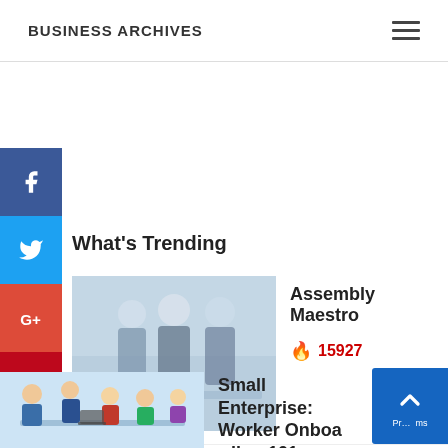BUSINESS ARCHIVES
[Figure (other): Facebook social share button (blue square with white 'f' icon)]
[Figure (other): Twitter social share button (blue square with white bird icon)]
[Figure (other): Google+ social share button (red square with white 'G+' icon)]
[Figure (other): Pinterest social share button (dark red square with white 'p' icon)]
[Figure (other): LinkedIn social share button (blue square with white 'in' icon)]
What's Trending
[Figure (photo): Business people standing around charts and documents, blurred office background]
Assembly Maestro
🔥 15927
[Figure (illustration): Cartoon illustration of business people in a meeting, one person presenting]
Small Enterprise: Worker Onboarding 101
🔥 10316